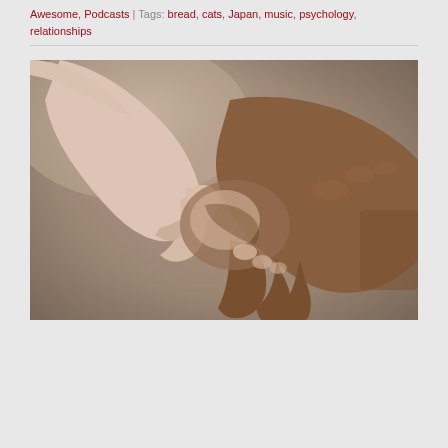Awesome, Podcasts | Tags: bread, cats, Japan, music, psychology, relationships
[Figure (photo): Two people holding hands — one hand lighter-skinned and smaller, one darker-skinned and larger, intertwined against a blurred beige/brown background.]